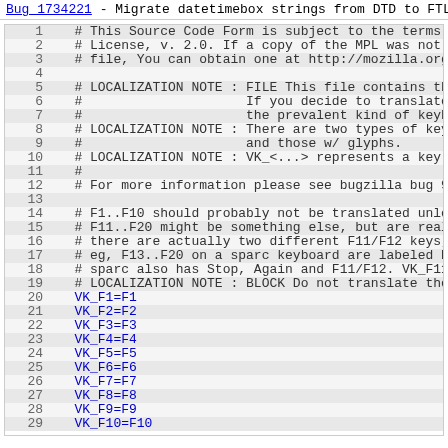Bug 1734221 - Migrate datetimebox strings from DTD to FTL, p
1  # This Source Code Form is subject to the terms of
2  # License, v. 2.0. If a copy of the MPL was not dis
3  # file, You can obtain one at http://mozilla.org/MP
4  
5  # LOCALIZATION NOTE : FILE This file contains the a
6  #                     If you decide to translate th
7  #                     the prevalent kind of keyboard
8  # LOCALIZATION NOTE : There are two types of keys,
9  #                     and those w/ glyphs.
10 # LOCALIZATION NOTE : VK_<...> represents a key on th
11 #
12 # For more information please see bugzilla bug 9088
13 
14 # F1..F10 should probably not be translated unless
15 # F11..F20 might be something else, but are really
16 # there are actually two different F11/F12 keys, I d
17 # eg, F13..F20 on a sparc keyboard are labeled Prop
18 # sparc also has Stop, Again and F11/F12. VK_F11/VK_
19 # LOCALIZATION NOTE : BLOCK Do not translate the ne
20 VK_F1=F1
21 VK_F2=F2
22 VK_F3=F3
23 VK_F4=F4
24 VK_F5=F5
25 VK_F6=F6
26 VK_F7=F7
27 VK_F8=F8
28 VK_F9=F9
29 VK_F10=F10